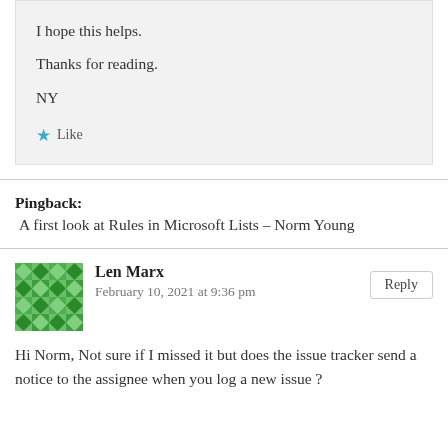I hope this helps.
Thanks for reading.
NY
★ Like
Pingback:
A first look at Rules in Microsoft Lists – Norm Young
Len Marx
February 10, 2021 at 9:36 pm
Hi Norm, Not sure if I missed it but does the issue tracker send a notice to the assignee when you log a new issue ?